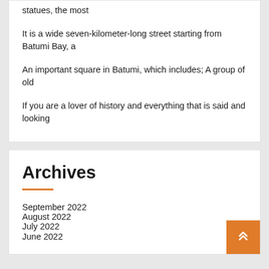statues, the most
It is a wide seven-kilometer-long street starting from Batumi Bay, a
An important square in Batumi, which includes; A group of old
If you are a lover of history and everything that is said and looking
Archives
September 2022
August 2022
July 2022
June 2022